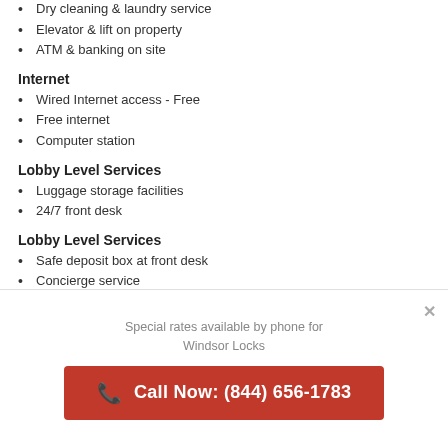Dry cleaning & laundry service
Elevator & lift on property
ATM & banking on site
Internet
Wired Internet access - Free
Free internet
Computer station
Lobby Level Services
Luggage storage facilities
24/7 front desk
Lobby Level Services
Safe deposit box at front desk
Concierge service
Outdoor
TV in common areas
Parking Services
Covered parking
Special rates available by phone for Windsor Locks
Call Now: (844) 656-1783